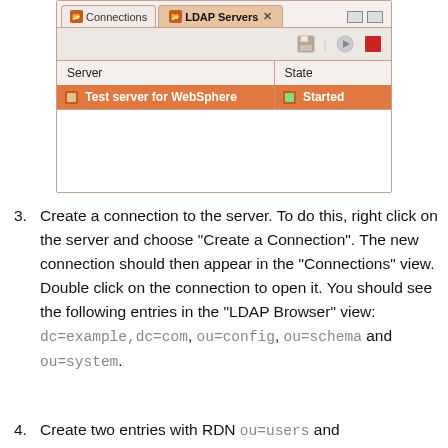[Figure (screenshot): IDE window showing LDAP Servers tab with a table listing 'Test server for WebSphere' with state 'Started', highlighted in orange.]
Create a connection to the server. To do this, right click on the server and choose “Create a Connection”. The new connection should then appear in the “Connections” view. Double click on the connection to open it. You should see the following entries in the “LDAP Browser” view: dc=example,dc=com, ou=config, ou=schema and ou=system.
Create two entries with RDN ou=users and